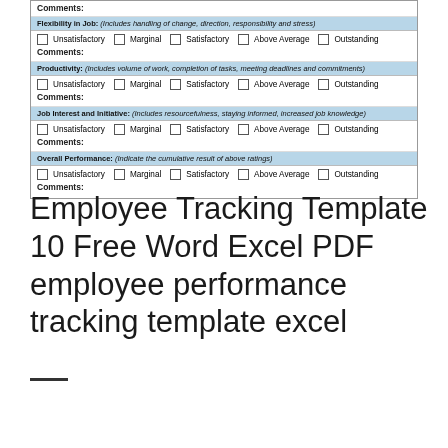[Figure (other): Employee performance evaluation form snippet showing rating sections for Flexibility in Job, Productivity, Job Interest and Initiative, and Overall Performance. Each section has checkboxes for Unsatisfactory, Marginal, Satisfactory, Above Average, Outstanding, and a Comments field.]
Employee Tracking Template 10 Free Word Excel PDF   employee performance tracking template excel
—